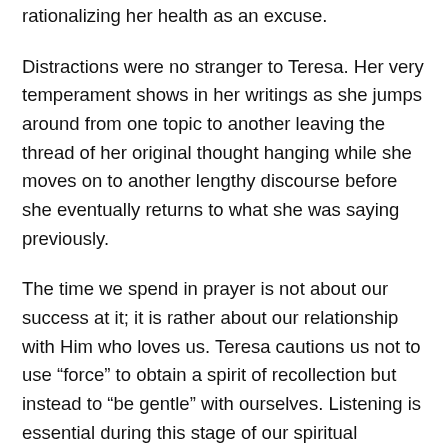rationalizing her health as an excuse.
Distractions were no stranger to Teresa. Her very temperament shows in her writings as she jumps around from one topic to another leaving the thread of her original thought hanging while she moves on to another lengthy discourse before she eventually returns to what she was saying previously.
The time we spend in prayer is not about our success at it; it is rather about our relationship with Him who loves us. Teresa cautions us not to use “force” to obtain a spirit of recollection but instead to “be gentle” with ourselves. Listening is essential during this stage of our spiritual development. Many voices will vie for our attention: our own inner voice, the voice of the world, the voice of the